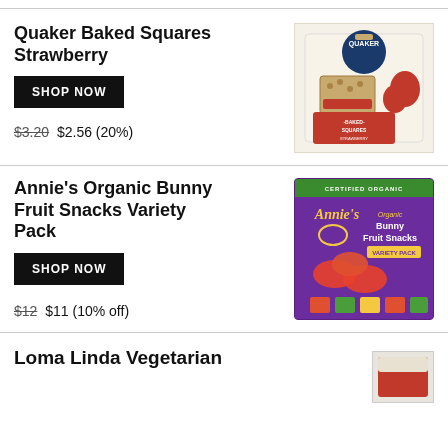Quaker Baked Squares Strawberry
SHOP NOW
$3.20 $2.56 (20%)
[Figure (photo): Quaker Baked Squares Strawberry product box photo]
Annie's Organic Bunny Fruit Snacks Variety Pack
SHOP NOW
$12 $11 (10% off)
[Figure (photo): Annie's Organic Bunny Fruit Snacks Variety Pack product box photo]
Loma Linda Vegetarian